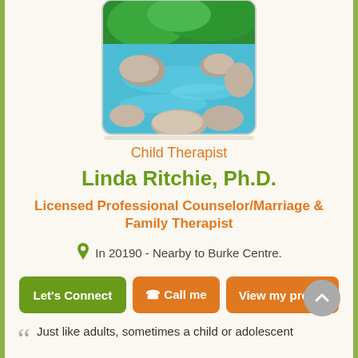[Figure (photo): Nature photo of a rocky stream with blue-green water and green foliage in the background, displayed in a rounded rectangle frame]
Child Therapist
Linda Ritchie, Ph.D.
Licensed Professional Counselor/Marriage & Family Therapist
In 20190 - Nearby to Burke Centre.
Let's Connect   Call me   View my profile
Just like adults, sometimes a child or adolescent